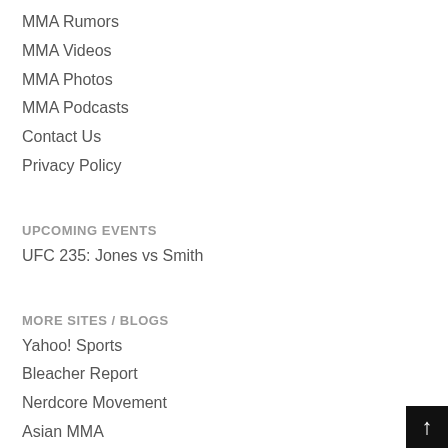MMA Rumors
MMA Videos
MMA Photos
MMA Podcasts
Contact Us
Privacy Policy
UPCOMING EVENTS
UFC 235: Jones vs Smith
MORE SITES / BLOGS
Yahoo! Sports
Bleacher Report
Nerdcore Movement
Asian MMA
Knockout Radio
AgFight
Fightline
MMA Linker
Addicted to MMA